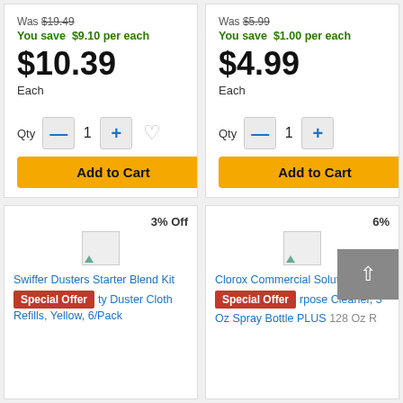Was $19.49
You save $9.10 per each
$10.39
Each
Was $5.99
You save $1.00 per each
$4.99
Each
3% Off
Swiffer Dusters Starter Blend Kit
Special Offer ty Duster Cloth Refills, Yellow, 6/Pack
6% Off
Clorox Commercial Solutions
Special Offer rpose Cleaner, 3
Oz Spray Bottle PLUS 128 Oz R